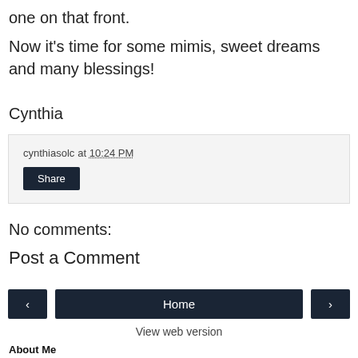one on that front.
Now it's time for some mimis, sweet dreams and many blessings!
Cynthia
cynthiasolc at 10:24 PM
Share
No comments:
Post a Comment
‹
Home
›
View web version
About Me